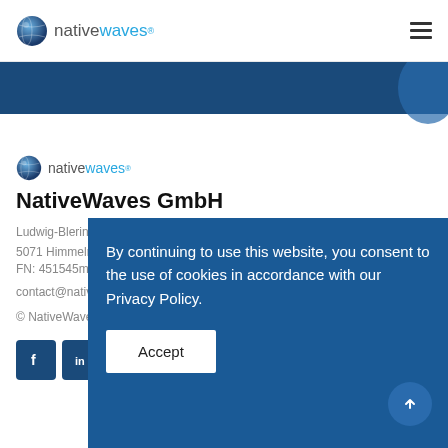nativewaves®
[Figure (logo): NativeWaves logo with globe icon and text 'nativewaves®' in the footer area]
NativeWaves GmbH
Ludwig-Bleringer Platz 1
5071 Himmelreich, Austria
FN: 451545m, LG Salzburg
contact@nativewaves.com
© NativeWaves. All rights reserved 2020
By continuing to use this website, you consent to the use of cookies in accordance with our Privacy Policy.